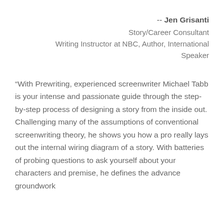-- Jen Grisanti
Story/Career Consultant
Writing Instructor at NBC, Author, International Speaker
“With Prewriting, experienced screenwriter Michael Tabb is your intense and passionate guide through the step-by-step process of designing a story from the inside out. Challenging many of the assumptions of conventional screenwriting theory, he shows you how a pro really lays out the internal wiring diagram of a story. With batteries of probing questions to ask yourself about your characters and premise, he defines the advance groundwork